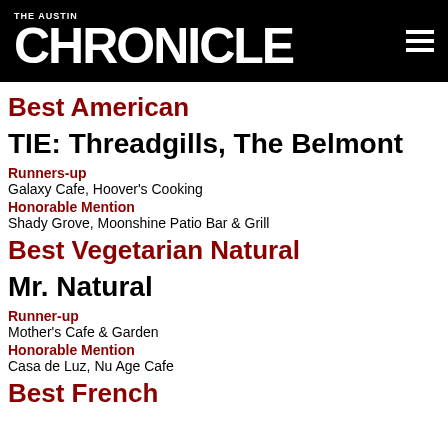THE AUSTIN CHRONICLE
Best American
TIE: Threadgills, The Belmont
Runners-up: Galaxy Cafe, Hoover's Cooking
Honorable Mention: Shady Grove, Moonshine Patio Bar & Grill
Best Vegetarian Natural
Mr. Natural
Runner-up: Mother's Cafe & Garden
Honorable Mention: Casa de Luz, Nu Age Cafe
Best French